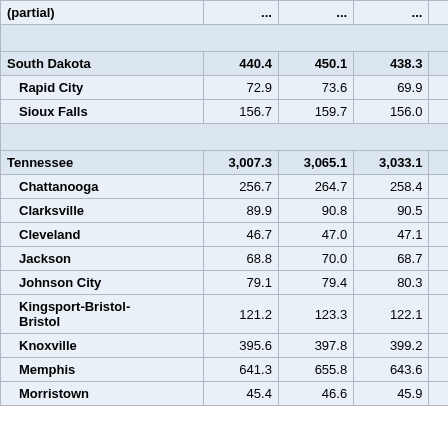| Area | Col1 | Col2 | Col3 | Col4 | Col5(partial) |
| --- | --- | --- | --- | --- | --- |
| (partial top row) | ... | ... | ... | ... | ... |
| South Dakota | 440.4 | 450.1 | 438.3 | 446.0 | (partial) |
| Rapid City | 72.9 | 73.6 | 69.9 | 71.2 | (partial) |
| Sioux Falls | 156.7 | 159.7 | 156.0 | 158.6 | (partial) |
| (spacer) |  |  |  |  |  |
| Tennessee | 3,007.3 | 3,065.1 | 3,033.1 | 3,093.7 | 60... |
| Chattanooga | 256.7 | 264.7 | 258.4 | 266.7 | 8... |
| Clarksville | 89.9 | 90.8 | 90.5 | 91.6 | 1... |
| Cleveland | 46.7 | 47.0 | 47.1 | 47.5 | 0... |
| Jackson | 68.8 | 70.0 | 68.7 | 70.1 | 1... |
| Johnson City | 79.1 | 79.4 | 80.3 | 80.6 | 0... |
| Kingsport-Bristol-Bristol | 121.2 | 123.3 | 122.1 | 124.0 | 1... |
| Knoxville | 395.6 | 397.8 | 399.2 | 400.6 | 1... |
| Memphis | 641.3 | 655.8 | 643.6 | 658.5 | 14... |
| Morristown | 45.4 | 46.6 | 45.9 | 46.9 | 1... |